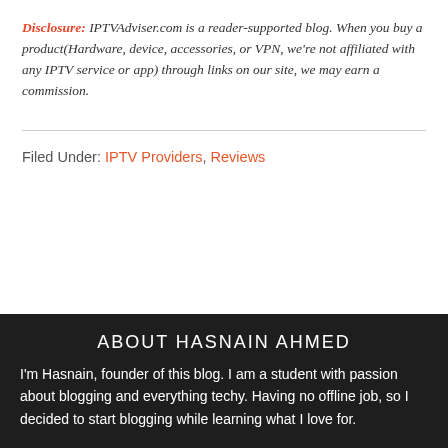Disclosure: IPTVAdviser.com is a reader-supported blog. When you buy a product(Hardware, device, accessories, or VPN, we're not affiliated with any IPTV service or app) through links on our site, we may earn a commission.
Filed Under: IPTV Providers, Reviews
ABOUT HASNAIN AHMED
I'm Hasnain, founder of this blog. I am a student with passion about blogging and everything techy. Having no offline job, so I decided to start blogging while learning what I love for.